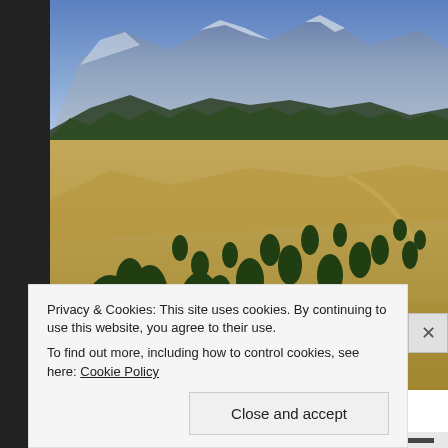[Figure (photo): Landscape photograph showing a high desert valley with scattered conifer trees (pinyon pines/junipers) on dry golden-brown hillsides, with a large mountain range with snow-capped blue-grey peaks in the background and dense evergreen forest along the mountain base. The left edge is bordered by a dark grey/black vertical strip.]
Privacy & Cookies: This site uses cookies. By continuing to use this website, you agree to their use.
To find out more, including how to control cookies, see here: Cookie Policy
Close and accept